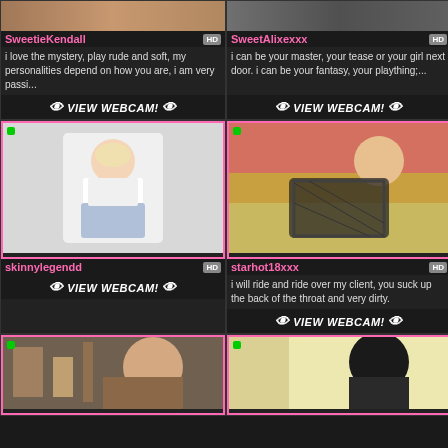[Figure (photo): Top banner photo left - partial female figure cropped]
SweetieKendall
i love the mystery, play rude and soft, my personalities depend on how you are, i am very passi...
VIEW WEBCAM!
[Figure (photo): Top banner photo right - partial female figure cropped]
SweetAlixexxx
i can be your master, your tease or your girl next door. i can be your fantasy, your plaything;...
VIEW WEBCAM!
[Figure (photo): Middle left - blonde woman in white crop top and plaid skirt]
skinnylegendd
VIEW WEBCAM!
[Figure (photo): Middle right - woman in black fishnet outfit posed on floor]
starhot18xxx
i will ride and ride over my client, you suck up the back of the throat and very dirty.
VIEW WEBCAM!
[Figure (photo): Bottom left partial - woman with brown hair in kitchen setting]
[Figure (photo): Bottom right partial - woman with dark hair against bright background]